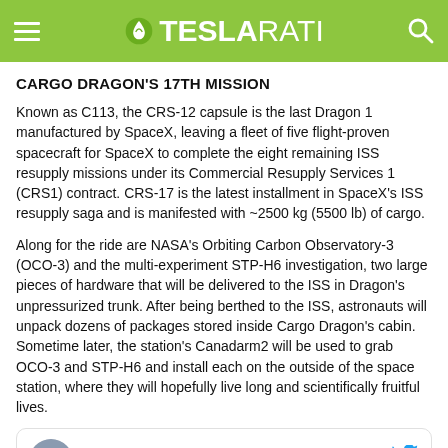TESLARATI
CARGO DRAGON'S 17TH MISSION
Known as C113, the CRS-12 capsule is the last Dragon 1 manufactured by SpaceX, leaving a fleet of five flight-proven spacecraft for SpaceX to complete the eight remaining ISS resupply missions under its Commercial Resupply Services 1 (CRS1) contract. CRS-17 is the latest installment in SpaceX's ISS resupply saga and is manifested with ~2500 kg (5500 lb) of cargo.
Along for the ride are NASA's Orbiting Carbon Observatory-3 (OCO-3) and the multi-experiment STP-H6 investigation, two large pieces of hardware that will be delivered to the ISS in Dragon's unpressurized trunk. After being berthed to the ISS, astronauts will unpack dozens of packages stored inside Cargo Dragon's cabin. Sometime later, the station's Canadarm2 will be used to grab OCO-3 and STP-H6 and install each on the outside of the space station, where they will hopefully live long and scientifically fruitful lives.
[Figure (other): Tweet card from International Space Station verified Twitter account with blue Twitter bird icon]